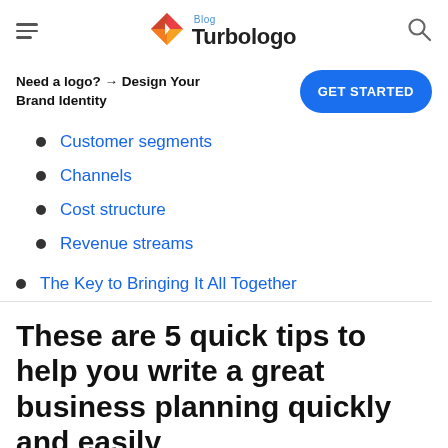Turbologo Blog
Need a logo? → Design Your Brand Identity
Customer segments
Channels
Cost structure
Revenue streams
The Key to Bringing It All Together
These are 5 quick tips to help you write a great business planning quickly and easily